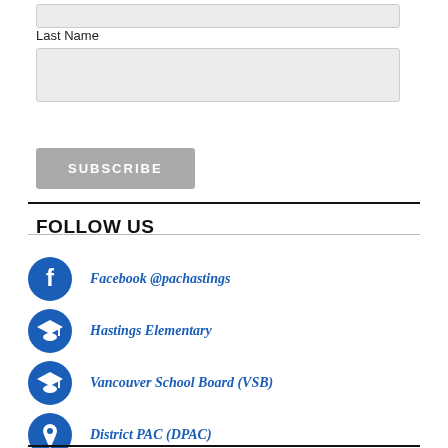Last Name
FOLLOW US
Facebook @pachastings
Hastings Elementary
Vancouver School Board (VSB)
District PAC (DPAC)